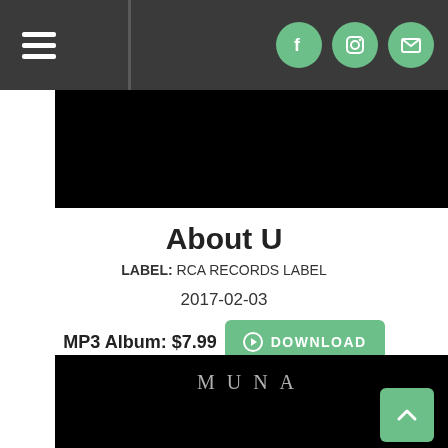Navigation bar with hamburger menu and social icons (Facebook, Instagram, Email)
[Figure (photo): Black album cover image strip at the top]
About U
LABEL: RCA RECORDS LABEL
2017-02-03
MP3 Album: $7.99  DOWNLOAD
[Figure (photo): Black album cover for MUNA showing artist name in metallic letters and partial photo of person with hands near face]